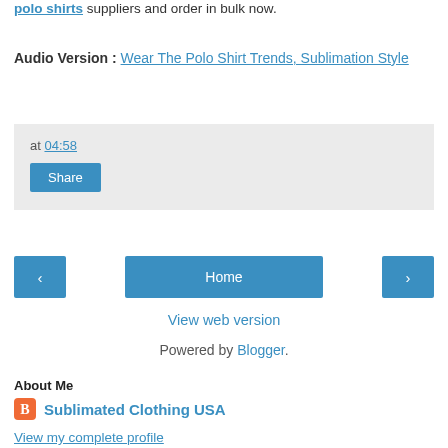polo shirts suppliers and order in bulk now.
Audio Version : Wear The Polo Shirt Trends, Sublimation Style
at 04:58
Share
‹
Home
›
View web version
Powered by Blogger.
About Me
Sublimated Clothing USA
View my complete profile